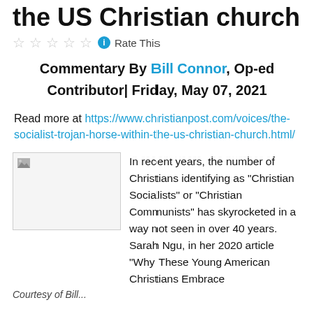the US Christian church
★★★★★ ⓘ Rate This
Commentary By Bill Connor, Op-ed Contributor| Friday, May 07, 2021
Read more at https://www.christianpost.com/voices/the-socialist-trojan-horse-within-the-us-christian-church.html/
[Figure (photo): Broken/missing image placeholder]
In recent years, the number of Christians identifying as “Christian Socialists” or “Christian Communists” has skyrocketed in a way not seen in over 40 years. Sarah Ngu, in her 2020 article “Why These Young American Christians Embrace
Courtesy of Bill...